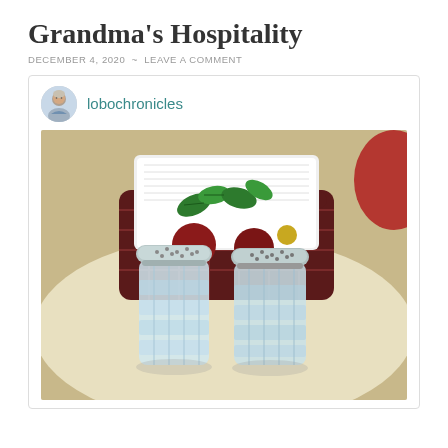Grandma's Hospitality
DECEMBER 4, 2020  ~  LEAVE A COMMENT
lobochronicles
[Figure (photo): Photo of two glass salt and pepper shakers with silver perforated lids, placed in front of a decorative dark red/maroon basket napkin holder with green leaf and fruit decorations, all sitting on a pale yellow plate on a wooden table surface. A red item is partially visible in the top right corner.]